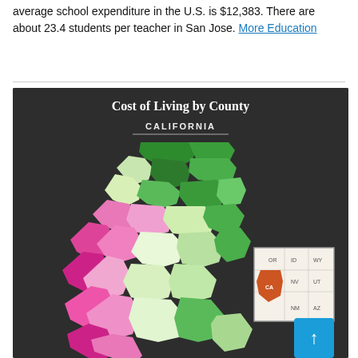average school expenditure in the U.S. is $12,383. There are about 23.4 students per teacher in San Jose. More Education
[Figure (map): Cost of Living by County choropleth map of California, showing counties shaded in varying shades of green and pink/magenta. An inset map in the lower right shows California's location within the western United States (showing OR, ID, WY, NV, UT, CA, AZ states). California is highlighted in orange on the inset. A scroll-to-top button appears at the bottom right.]